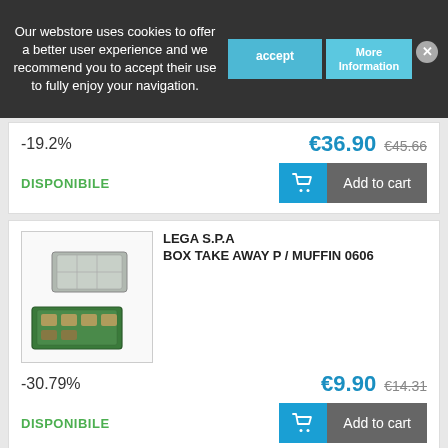Our webstore uses cookies to offer a better user experience and we recommend you to accept their use to fully enjoy your navigation.
-19.2%
€36.90  €45.66
DISPONIBILE
Add to cart
LEGA S.P.A
BOX TAKE AWAY P / MUFFIN 0606
-30.79%
€9.90  €14.31
DISPONIBILE
Add to cart
GIGANPLAST S.P.A.
BOX TRNS.60X40X06 1875M1